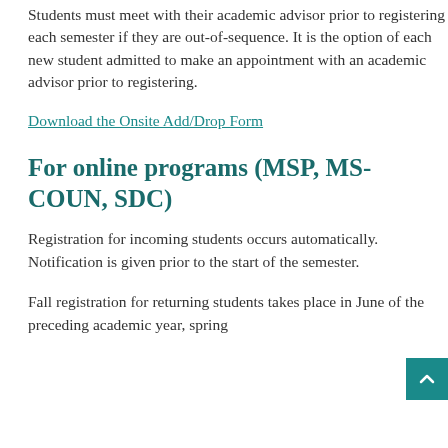Students must meet with their academic advisor prior to registering each semester if they are out-of-sequence. It is the option of each new student admitted to make an appointment with an academic advisor prior to registering.
Download the Onsite Add/Drop Form
For online programs (MSP, MS-COUN, SDC)
Registration for incoming students occurs automatically. Notification is given prior to the start of the semester.
Fall registration for returning students takes place in June of the preceding academic year, spring